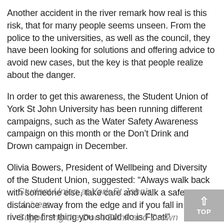Another accident in the river remark how real is this risk, that for many people seems unseen. From the police to the universities, as well as the council, they have been looking for solutions and offering advice to avoid new cases, but the key is that people realize about the danger.
In order to get this awareness, the Student Union of York St John University has been running different campaigns, such as the Water Safety Awareness campaign on this month or the Don't Drink and Drown campaign in December.
Olivia Bowers, President of Wellbeing and Diversity of the Student Union, suggested: "Always walk back with someone else, take care and walk a safe distance away from the edge and if you fall in the river the first thing you should do is Float!"
Student Union at York St John's University Supporting the Don't Drink and Drown